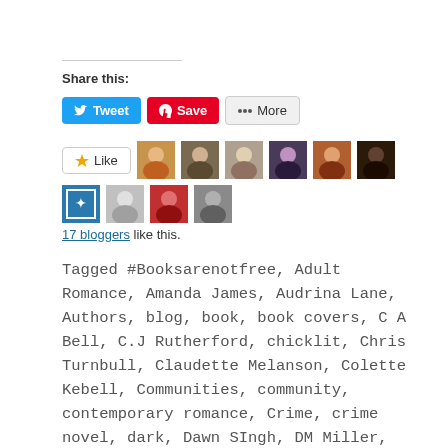Share this:
[Figure (screenshot): Social sharing buttons: Tweet (blue), Save (red Pinterest), More (grey)]
[Figure (screenshot): Like button and 10 blogger avatar thumbnails]
17 bloggers like this.
Tagged #Booksarenotfree, Adult Romance, Amanda James, Audrina Lane, Authors, blog, book, book covers, C A Bell, C.J Rutherford, chicklit, Chris Turnbull, Claudette Melanson, Colette Kebell, Communities, community, contemporary romance, Crime, crime novel, dark, Dawn SIngh, DM Miller, DM SIngh, Dragons, dreams, Dystopian